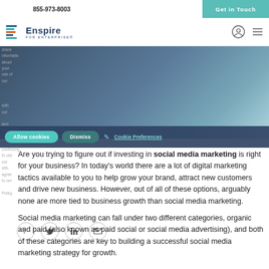855-973-8003 | Get in Touch
[Figure (logo): Enspire FOR ENTERPRISE logo with colorful stacked icon]
[Figure (screenshot): Cookie consent banner with Allow cookies, Dismiss, and Cookie Preferences buttons over a dark hero image area]
[Figure (infographic): Social share icons: Facebook, Twitter, LinkedIn, Email]
Are you trying to figure out if investing in social media marketing is right for your business? In today's world there are a lot of digital marketing tactics available to you to help grow your brand, attract new customers and drive new business. However, out of all of these options, arguably none are more tied to business growth than social media marketing.
Social media marketing can fall under two different categories, organic and paid (also known as paid social or social media advertising), and both of these categories are key to building a successful social media marketing strategy for growth.